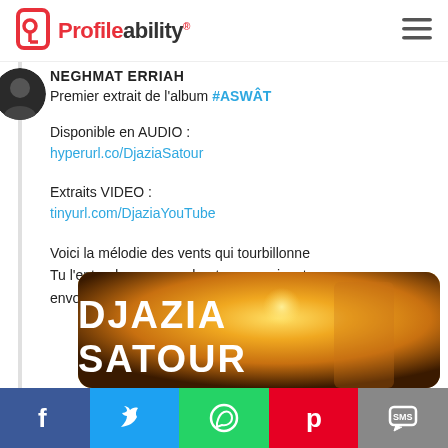Profileability
NEGHMAT ERRIAH
Premier extrait de l'album #ASWÂT
Disponible en AUDIO :
hyperurl.co/DjaziaSatour
Extraits VIDEO :
tinyurl.com/DjaziaYouTube
Voici la mélodie des vents qui tourbillonne
Tu l'entendras en marchant ou en suivant son envol...
[Figure (photo): Album cover image showing text DJAZIA SATOUR on a warm sunset background]
Social share bar: Facebook, Twitter, WhatsApp, Pinterest, SMS